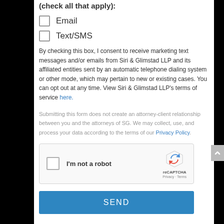(check all that apply):
Email
Text/SMS
By checking this box, I consent to receive marketing text messages and/or emails from Siri & Glimstad LLP and its affiliated entities sent by an automatic telephone dialing system or other mode, which may pertain to new or existing cases. You can opt out at any time. View Siri & Glimstad LLP's terms of service here.
Submitting this form does not create an attorney-client relationship between you and the attorneys of SG. We may collect, use, and process your data according to the terms of our Privacy Policy.
[Figure (other): reCAPTCHA widget with checkbox labeled I'm not a robot]
SEND